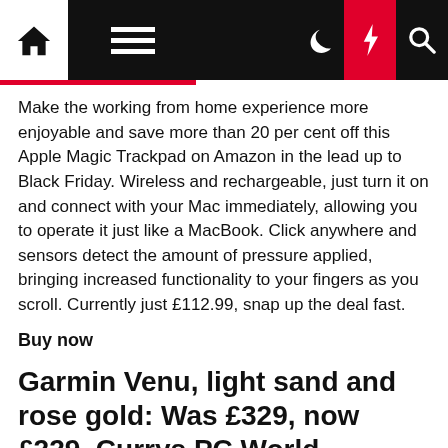[Navigation bar with home, menu, dark mode, lightning, search icons]
Make the working from home experience more enjoyable and save more than 20 per cent off this Apple Magic Trackpad on Amazon in the lead up to Black Friday. Wireless and rechargeable, just turn it on and connect with your Mac immediately, allowing you to operate it just like a MacBook. Click anywhere and sensors detect the amount of pressure applied, bringing increased functionality to your fingers as you scroll. Currently just £112.99, snap up the deal fast.
Buy now
Garmin Venu, light sand and rose gold: Was £329, now £229, Currys PC World